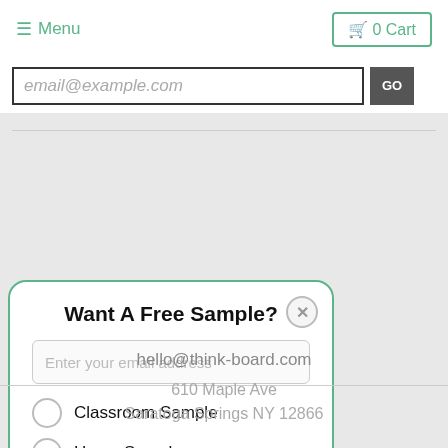≡ Menu   🛒 0 Cart
email@example.com
Want A Free Sample?
Enter your email address
Classroom Sample
Home Sample
Office Sample
Get My Sample
hello@think-board.com
610 Maple Ave
Saratoga Springs NY 12866